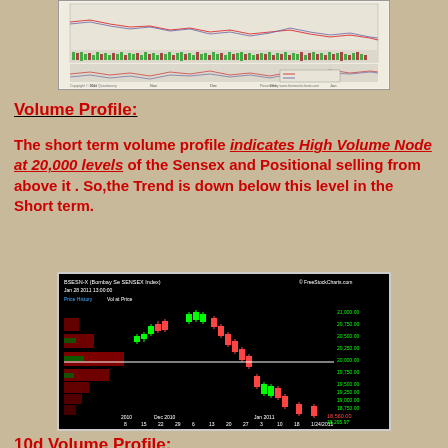[Figure (continuous-plot): Stock chart showing price and volume indicators, multiple oscillators, timeframe spanning Nov-Jan 2011]
Volume Profile:
The short term volume profile indicates High Volume Node at 20,000 levels of the Sensex and Positional selling from above it . So,the Trend is down below this level in the Short term.
[Figure (continuous-plot): BSESN-X (Bombay Se SENSEX Index) Volume at Price chart from FreeStockCharts.com, Jan 28 2011, showing candlestick price chart with volume profile bars on left side, price levels from 18,500 to 21,000, horizontal white line at 20,000 level, date range Nov 2010 to Jan 2011]
10d Volume Profile: